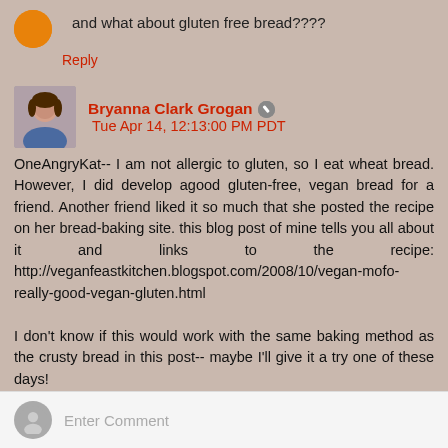and what about gluten free bread????
Reply
Bryanna Clark Grogan  Tue Apr 14, 12:13:00 PM PDT
OneAngryKat-- I am not allergic to gluten, so I eat wheat bread. However, I did develop agood gluten-free, vegan bread for a friend. Another friend liked it so much that she posted the recipe on her bread-baking site. this blog post of mine tells you all about it and links to the recipe: http://veganfeastkitchen.blogspot.com/2008/10/vegan-mofo-really-good-vegan-gluten.html

I don't know if this would work with the same baking method as the crusty bread in this post-- maybe I'll give it a try one of these days!
Reply
Enter Comment